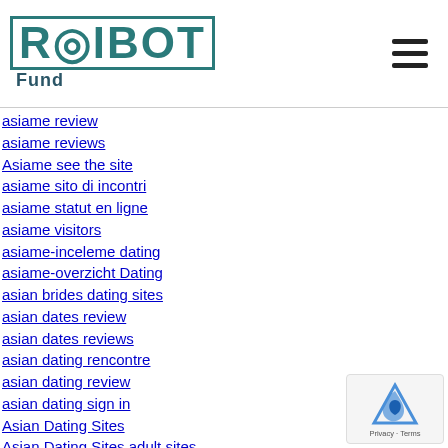ROIBOT Fund
asiame review
asiame reviews
Asiame see the site
asiame sito di incontri
asiame statut en ligne
asiame visitors
asiame-inceleme dating
asiame-overzicht Dating
asian brides dating sites
asian dates review
asian dates reviews
asian dating rencontre
asian dating review
asian dating sign in
Asian Dating Sites
Asian Dating Sites adult sites
Asian Dating Sites apps for iphone
Asian Dating Sites best site
Asian Dating Sites dating
Asian Dating Sites online
Asian Dating Sites review
Asian dating sites reviews
Asian Dating Sites sites
Asian Dating Sites visitors